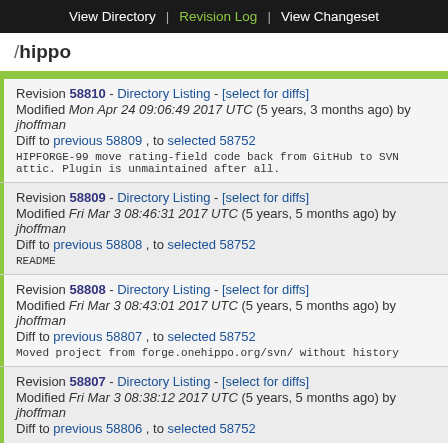View Directory | Revision Log | View Changeset
/hippo
Revision 58810 - Directory Listing - [select for diffs]
Modified Mon Apr 24 09:06:49 2017 UTC (5 years, 3 months ago) by jhoffman
Diff to previous 58809 , to selected 58752
HIPFORGE-99 move rating-field code back from GitHub to SVN attic. Plugin is unmaintained after all.
Revision 58809 - Directory Listing - [select for diffs]
Modified Fri Mar 3 08:46:31 2017 UTC (5 years, 5 months ago) by jhoffman
Diff to previous 58808 , to selected 58752
README
Revision 58808 - Directory Listing - [select for diffs]
Modified Fri Mar 3 08:43:01 2017 UTC (5 years, 5 months ago) by jhoffman
Diff to previous 58807 , to selected 58752
Moved project from forge.onehippo.org/svn/ without history
Revision 58807 - Directory Listing - [select for diffs]
Modified Fri Mar 3 08:38:12 2017 UTC (5 years, 5 months ago) by jhoffman
Diff to previous 58806 , to selected 58752